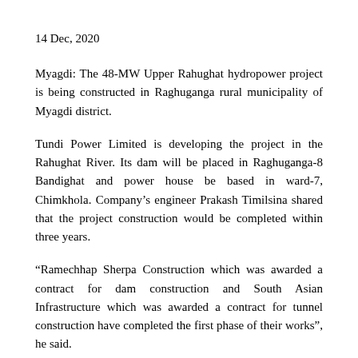14 Dec, 2020
Myagdi: The 48-MW Upper Rahughat hydropower project is being constructed in Raghuganga rural municipality of Myagdi district.
Tundi Power Limited is developing the project in the Rahughat River. Its dam will be placed in Raghuganga-8 Bandighat and power house be based in ward-7, Chimkhola. Company’s engineer Prakash Timilsina shared that the project construction would be completed within three years.
“Ramechhap Sherpa Construction which was awarded a contract for dam construction and South Asian Infrastructure which was awarded a contract for tunnel construction have completed the first phase of their works”, he said.